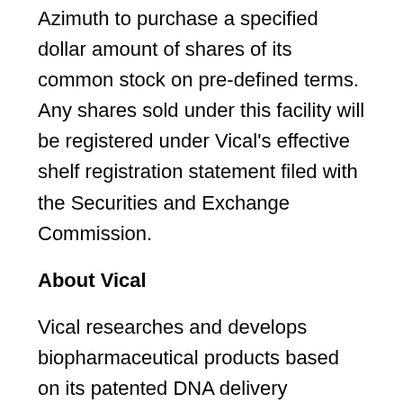Azimuth to purchase a specified dollar amount of shares of its common stock on pre-defined terms. Any shares sold under this facility will be registered under Vical's effective shelf registration statement filed with the Securities and Exchange Commission.
About Vical
Vical researches and develops biopharmaceutical products based on its patented DNA delivery technologies for the prevention and treatment of serious or life-threatening diseases. Potential applications of the company's DNA delivery technology include DNA vaccines for infectious diseases or cancer,